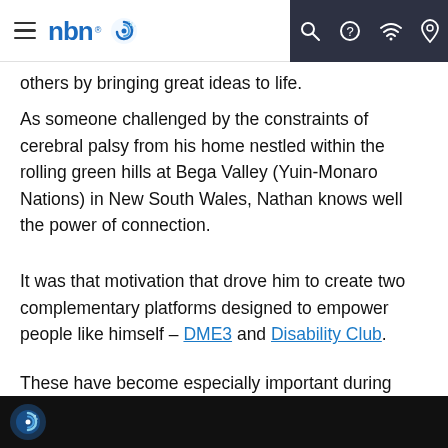nbn — navigation bar with hamburger menu, nbn logo, search, help, wifi, and location icons
others by bringing great ideas to life.
As someone challenged by the constraints of cerebral palsy from his home nestled within the rolling green hills at Bega Valley (Yuin-Monaro Nations) in New South Wales, Nathan knows well the power of connection.
It was that motivation that drove him to create two complementary platforms designed to empower people like himself – DME3 and Disability Club.
These have become especially important during COVID-19 lockdowns.
[Figure (screenshot): Bottom strip showing a dark/black background with the nbn circular logo and partial text]